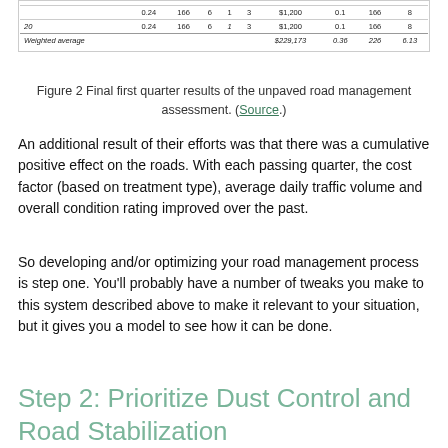|  |  |  |  |  |  |  |  |  |  |
| --- | --- | --- | --- | --- | --- | --- | --- | --- | --- |
| 20 | 0.24 | 166 | 6 | 1 | 3 | $1,200 | 0.1 | 166 | 8 |
| Weighted average |  |  |  |  |  | $229,173 | 0.36 | 226 | 6.13 |
Figure 2 Final first quarter results of the unpaved road management assessment. (Source.)
An additional result of their efforts was that there was a cumulative positive effect on the roads. With each passing quarter, the cost factor (based on treatment type), average daily traffic volume and overall condition rating improved over the past.
So developing and/or optimizing your road management process is step one. You'll probably have a number of tweaks you make to this system described above to make it relevant to your situation, but it gives you a model to see how it can be done.
Step 2: Prioritize Dust Control and Road Stabilization